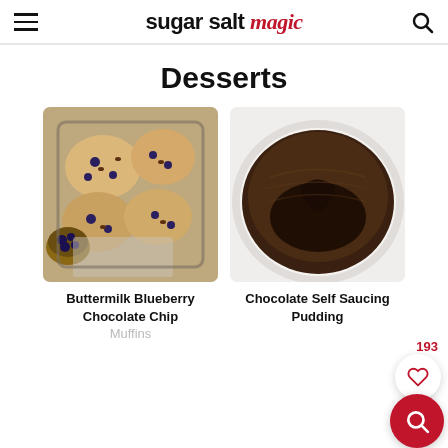sugar salt magic
Desserts
[Figure (photo): Blueberry chocolate chip muffins on a dark baking tray with blueberries scattered around]
Buttermilk Blueberry Chocolate Chip Muffins
[Figure (photo): Chocolate self saucing pudding in a white round dish with a spoon scooped into it revealing the chocolate sauce]
Chocolate Self Saucing Pudding